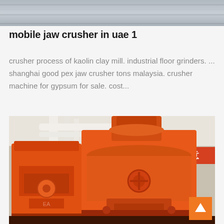[Figure (photo): Top portion of an industrial machine or equipment, gray/metallic tones, partially cropped]
mobile jaw crusher in uae 1
crusher process of kaolin clay mill. industrial floor grinders. ... shanghai good pex jaw crusher tons malaysia. crusher machine for gypsum for sale. cost...
[Figure (photo): Large orange industrial grinding mills or crushers in a factory setting, with Chinese text banner visible in background reading 顾客满意]